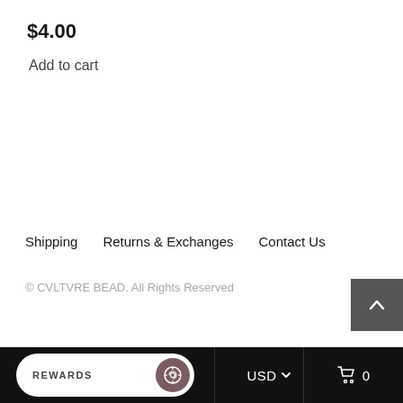$4.00
Add to cart
Shipping    Returns & Exchanges    Contact Us
© CVLTVRE BEAD. All Rights Reserved
REWARDS  USD  0